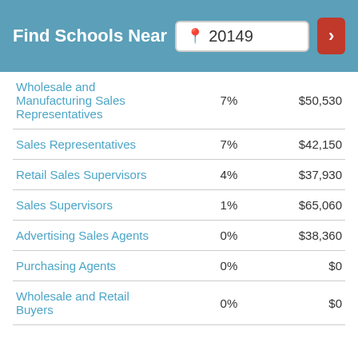Find Schools Near 20149
| Job Title | Growth | Median Salary |
| --- | --- | --- |
| Wholesale and Manufacturing Sales Representatives | 7% | $50,530 |
| Sales Representatives | 7% | $42,150 |
| Retail Sales Supervisors | 4% | $37,930 |
| Sales Supervisors | 1% | $65,060 |
| Advertising Sales Agents | 0% | $38,360 |
| Purchasing Agents | 0% | $0 |
| Wholesale and Retail Buyers | 0% | $0 |